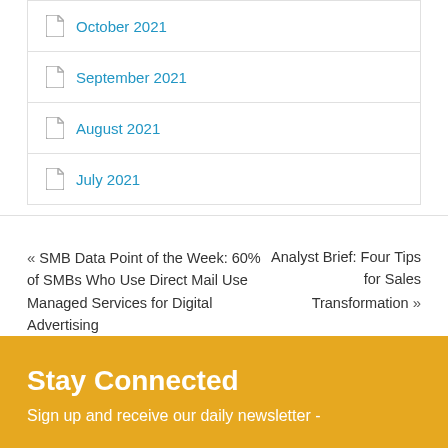October 2021
September 2021
August 2021
July 2021
« SMB Data Point of the Week: 60% of SMBs Who Use Direct Mail Use Managed Services for Digital Advertising
Analyst Brief: Four Tips for Sales Transformation »
Stay Connected
Sign up and receive our daily newsletter -